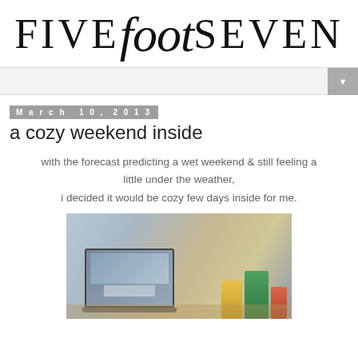[Figure (logo): Five Foot Seven blog logo with 'FIVE' and 'SEVEN' in serif caps and 'foot' in italic script]
▼
March 10, 2013
a cozy weekend inside
with the forecast predicting a wet weekend & still feeling a little under the weather, i decided it would be cozy few days inside for me.
[Figure (photo): Photo of a laptop open on a desk next to cold medicine boxes (Vicks NyQuil and others) on a wooden surface]